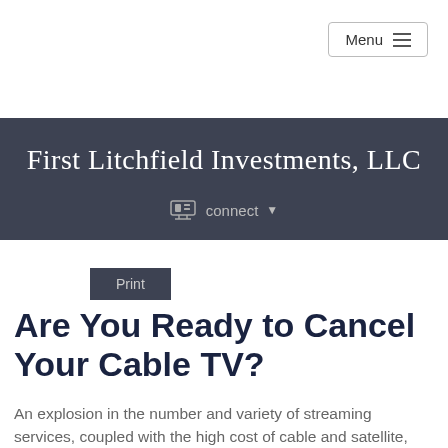Menu
First Litchfield Investments, LLC
connect
Print
Are You Ready to Cancel Your Cable TV?
An explosion in the number and variety of streaming services, coupled with the high cost of cable and satellite, has put many consumers at the...